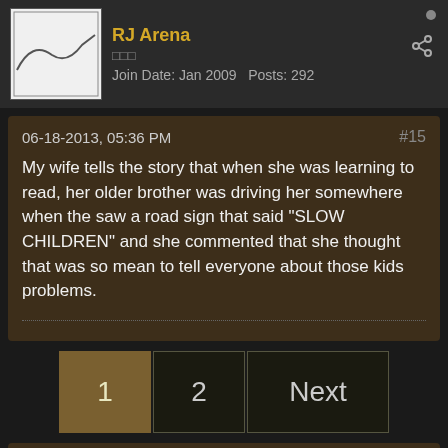RJ Arena
Join Date: Jan 2009   Posts: 292
06-18-2013, 05:36 PM    #15
My wife tells the story that when she was learning to read, her older brother was driving her somewhere when the saw a road sign that said "SLOW CHILDREN" and she commented that she thought that was so mean to tell everyone about those kids problems.
1  2  Next
Welcome!